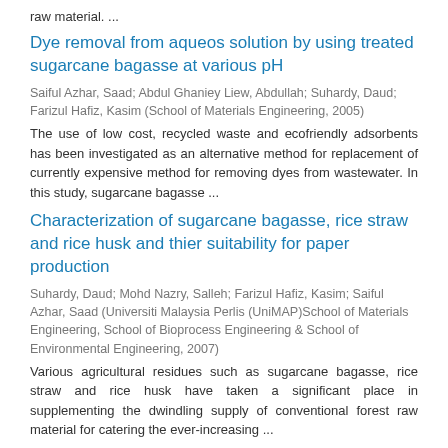raw material. ...
Dye removal from aqueos solution by using treated sugarcane bagasse at various pH
Saiful Azhar, Saad; Abdul Ghaniey Liew, Abdullah; Suhardy, Daud; Farizul Hafiz, Kasim (School of Materials Engineering, 2005)
The use of low cost, recycled waste and ecofriendly adsorbents has been investigated as an alternative method for replacement of currently expensive method for removing dyes from wastewater. In this study, sugarcane bagasse ...
Characterization of sugarcane bagasse, rice straw and rice husk and thier suitability for paper production
Suhardy, Daud; Mohd Nazry, Salleh; Farizul Hafiz, Kasim; Saiful Azhar, Saad (Universiti Malaysia Perlis (UniMAP)School of Materials Engineering, School of Bioprocess Engineering & School of Environmental Engineering, 2007)
Various agricultural residues such as sugarcane bagasse, rice straw and rice husk have taken a significant place in supplementing the dwindling supply of conventional forest raw material for catering the ever-increasing ...
Isolation and characterization of Pulp from sugarcane bagasse and rice straw